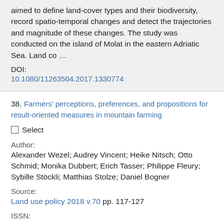aimed to define land-cover types and their biodiversity, record spatio-temporal changes and detect the trajectories and magnitude of these changes. The study was conducted on the island of Molat in the eastern Adriatic Sea. Land co …
DOI:
10.1080/11263504.2017.1330774
38. Farmers' perceptions, preferences, and propositions for result-oriented measures in mountain farming
Select
Author:
Alexander Wezel; Audrey Vincent; Heike Nitsch; Otto Schmid; Monika Dubbert; Erich Tasser; Philippe Fleury; Sybille Stöckli; Matthias Stolze; Daniel Bogner
Source:
Land use policy 2018 v.70 pp. 117-127
ISSN: